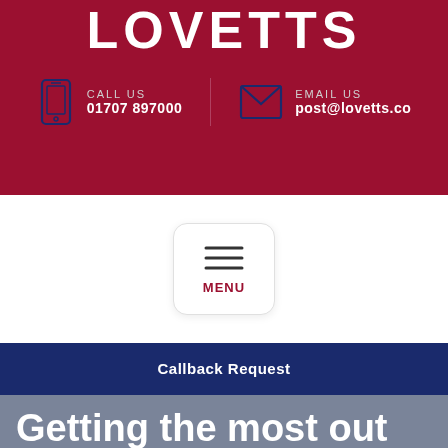LOVETTS
CALL US 01707 897000
EMAIL US post@lovetts.co
[Figure (other): Menu hamburger icon button with three horizontal lines and MENU label]
Callback Request
Getting the most out